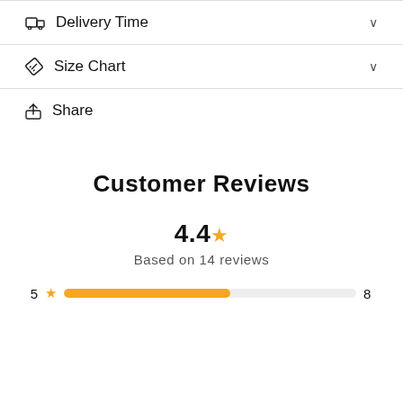Delivery Time
Size Chart
Share
Customer Reviews
4.4★ Based on 14 reviews
5★ — 8